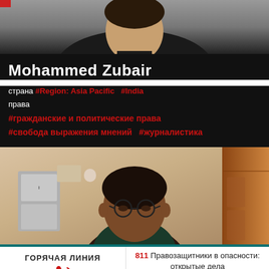[Figure (photo): Partial photo of a person in dark jacket, cropped at top of page]
Mohammed Zubair
страна #Region: Asia Pacific  #India
права
#гражданские и политические права
#свобода выражения мнений  #журналистика
[Figure (photo): Photo of Mohammed Zubair, a man with glasses in a room]
ГОРЯЧАЯ ЛИНИЯ
811 Правозащитники в опасности: открытые дела
PROTECT ONE EMPOWER A THOUSAND